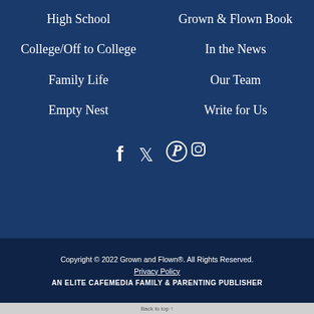High School
Grown & Flown Book
College/Off to College
In the News
Family Life
Our Team
Empty Nest
Write for Us
[Figure (other): Social media icons: Facebook, Twitter, Pinterest, Instagram]
Copyright © 2022 Grown and Flown®. All Rights Reserved.
Privacy Policy
AN ELITE CAFEMEDIA FAMILY & PARENTING PUBLISHER
Back to top ↑